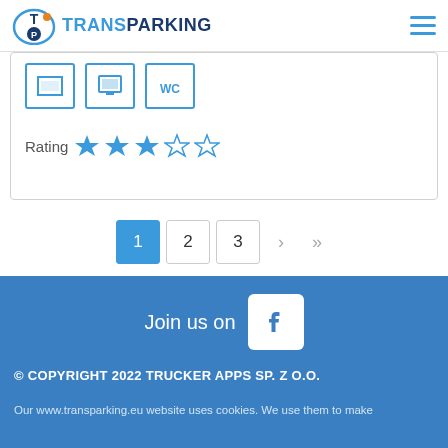TRANSPARKING
[Figure (screenshot): Three icon boxes in a row with blue borders representing facilities icons (bed, monitor/WC)]
Rating ★★★☆☆ (3 out of 5 stars)
[Figure (screenshot): Pagination controls: 1 (active, blue), 2, 3, ›, »]
[Figure (screenshot): Join us on Facebook icon]
© COPYRIGHT 2022 TRUCKER APPS SP. Z O.O. Our www.transparking.eu website uses cookies. We use them to make